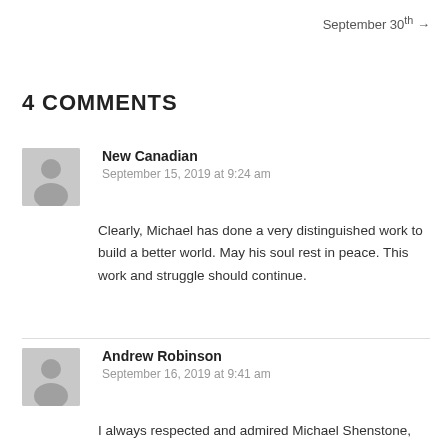September 30th →
4 COMMENTS
New Canadian
September 15, 2019 at 9:24 am

Clearly, Michael has done a very distinguished work to build a better world. May his soul rest in peace. This work and struggle should continue.
Andrew Robinson
September 16, 2019 at 9:41 am

I always respected and admired Michael Shenstone, and